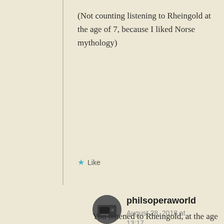(Not counting listening to Rheingold at the age of 7, because I liked Norse mythology)
★ Like
philsoperaworld
August 28, 2018 at 13:17
You listened to Rheingold, at the age of